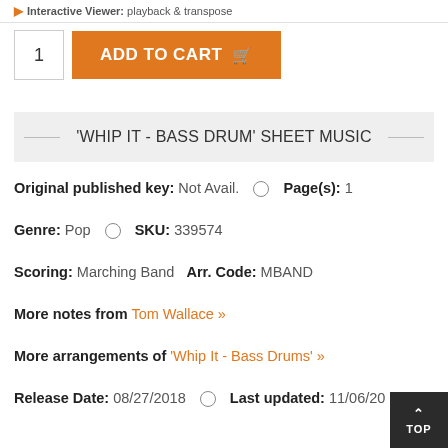Interactive Viewer: playback & transpose
[Figure (other): Add to cart UI with quantity input box showing '1' and orange ADD TO CART button with shopping cart icon]
'WHIP IT - BASS DRUM' SHEET MUSIC
Original published key: Not Avail.   Page(s): 1
Genre: Pop   SKU: 339574
Scoring: Marching Band  Arr. Code: MBAND
More notes from Tom Wallace »
More arrangements of 'Whip It - Bass Drums' »
Release Date: 08/27/2018   Last updated: 11/06/20...